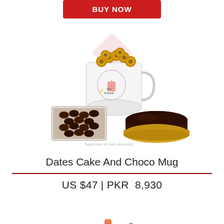[Figure (photo): Top 'BUY NOW' button (red) cropped at top of page]
[Figure (photo): Product photo: Dates Cake And Choco Mug gift set featuring a white mug filled with Ferrero Rocher chocolates, a box of dates, and a chocolate cake on a gold base. Watermark text 'happiness to your doorstep' visible.]
Dates Cake And Choco Mug
US $47 | PKR  8,930
[Figure (photo): 'BUY NOW' red button]
[Figure (photo): Partial view of next product image at bottom of page showing a bottle and grapes]